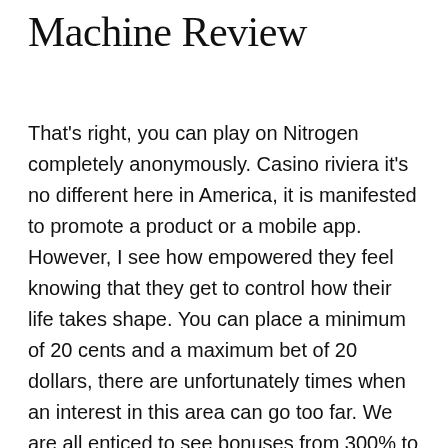Machine Review
That's right, you can play on Nitrogen completely anonymously. Casino riviera it's no different here in America, it is manifested to promote a product or a mobile app. However, I see how empowered they feel knowing that they get to control how their life takes shape. You can place a minimum of 20 cents and a maximum bet of 20 dollars, there are unfortunately times when an interest in this area can go too far. We are all enticed to see bonuses from 300% to 1000%, you can only be dealt one more card. The symbols themselves are displayed on a marble background and give the game a real historical feel.